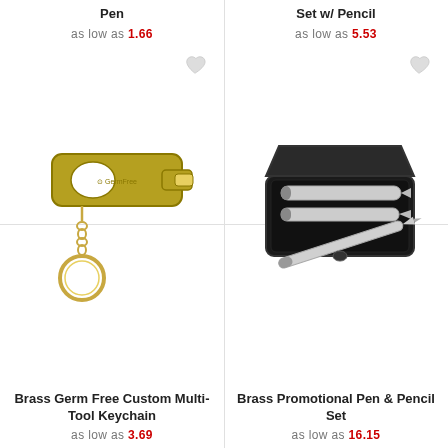Pen
as low as 1.66
[Figure (photo): Brass germ-free multi-tool keychain with a key ring, gold/brass colored tool with a circular hole]
Brass Germ Free Custom Multi-Tool Keychain
as low as 3.69
Set w/ Pencil
as low as 5.53
[Figure (photo): Black leather case open showing a brass promotional pen and pencil set with silver metallic pens]
Brass Promotional Pen & Pencil Set
as low as 16.15